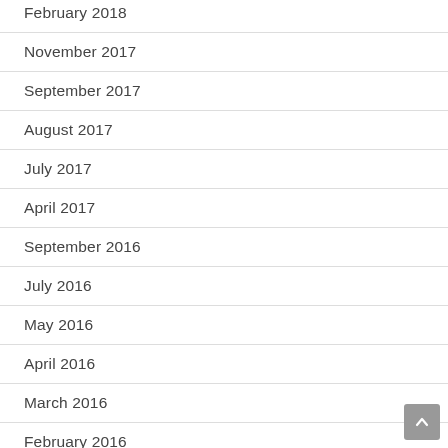February 2018
November 2017
September 2017
August 2017
July 2017
April 2017
September 2016
July 2016
May 2016
April 2016
March 2016
February 2016
January 2016